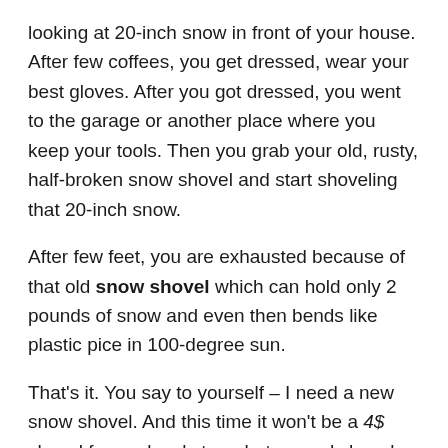looking at 20-inch snow in front of your house. After few coffees, you get dressed, wear your best gloves. After you got dressed, you went to the garage or another place where you keep your tools. Then you grab your old, rusty, half-broken snow shovel and start shoveling that 20-inch snow.
After few feet, you are exhausted because of that old snow shovel which can hold only 2 pounds of snow and even then bends like plastic pice in 100-degree sun.
That's it. You say to yourself – I need a new snow shovel. And this time it won't be a 4$ shovel from a local store, but a good shovel that will last at least three seasons. But then you think – which snow shovels are really good? Maybe I should look on the